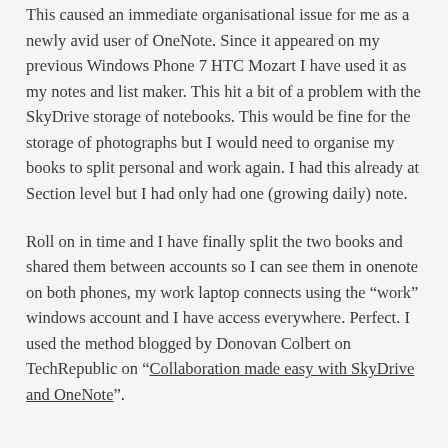This caused an immediate organisational issue for me as a newly avid user of OneNote. Since it appeared on my previous Windows Phone 7 HTC Mozart I have used it as my notes and list maker. This hit a bit of a problem with the SkyDrive storage of notebooks. This would be fine for the storage of photographs but I would need to organise my books to split personal and work again. I had this already at Section level but I had only had one (growing daily) note.
Roll on in time and I have finally split the two books and shared them between accounts so I can see them in onenote on both phones, my work laptop connects using the “work” windows account and I have access everywhere. Perfect. I used the method blogged by Donovan Colbert on TechRepublic on “Collaboration made easy with SkyDrive and OneNote”.